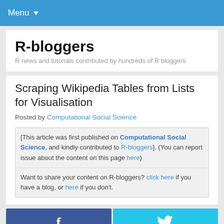Menu
R-bloggers
R news and tutorials contributed by hundreds of R bloggers
Scraping Wikipedia Tables from Lists for Visualisation
Posted by Computational Social Science
[This article was first published on Computational Social Science, and kindly contributed to R-bloggers]. (You can report issue about the content on this page here)
Want to share your content on R-bloggers? click here if you have a blog, or here if you don't.